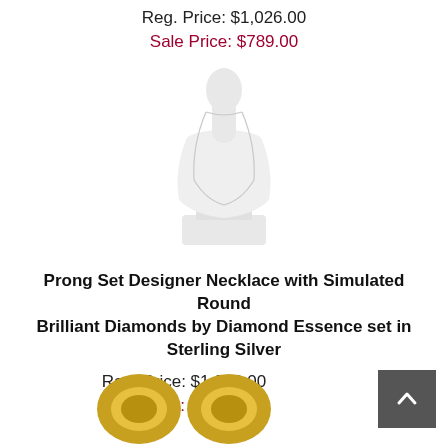Reg. Price: $1,026.00
Sale Price: $789.00
[Figure (photo): A necklace displayed on a white jewelry bust/mannequin stand, showing a delicate chain necklace.]
Prong Set Designer Necklace with Simulated Round Brilliant Diamonds by Diamond Essence set in Sterling Silver
Reg. Price: $1,806.00
Sale Price: $1,389.00
[Figure (photo): Two gold rings partially visible at the bottom of the page.]